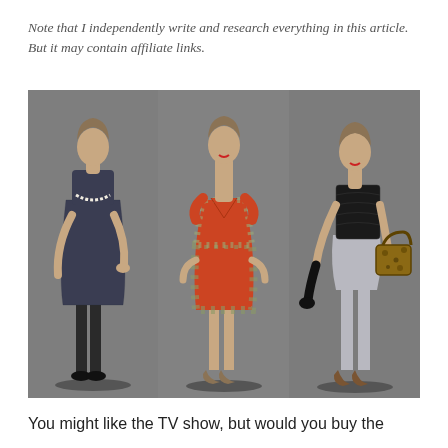Note that I independently write and research everything in this article. But it may contain affiliate links.
[Figure (photo): Three fashion models posing side by side against a gray background. Left model wears a dark navy/charcoal sleeveless dress with pearl necklace and black heels. Center model wears a colorful red and gray floral pleated dress with strappy wedge heels. Right model wears a black lace sleeveless top with gray cropped trousers, black gloves, and carries a leopard-print handbag, wearing brown heels.]
You might like the TV show, but would you buy the